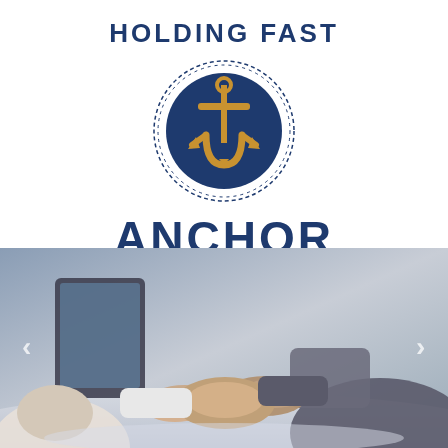HOLDING FAST
[Figure (logo): Anchor Staffing Services LLC logo: a gold anchor on a navy blue circle with rope ring border]
ANCHOR
STAFFING SERVICES, LLC
[Figure (photo): Two people shaking hands across a table with a tablet/laptop in the background, business meeting setting]